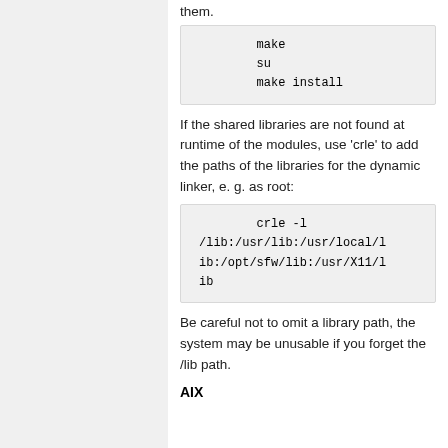them.
make
su
make install
If the shared libraries are not found at runtime of the modules, use 'crle' to add the paths of the libraries for the dynamic linker, e. g. as root:
crle -l /lib:/usr/lib:/usr/local/lib:/opt/sfw/lib:/usr/X11/lib
Be careful not to omit a library path, the system may be unusable if you forget the /lib path.
AIX